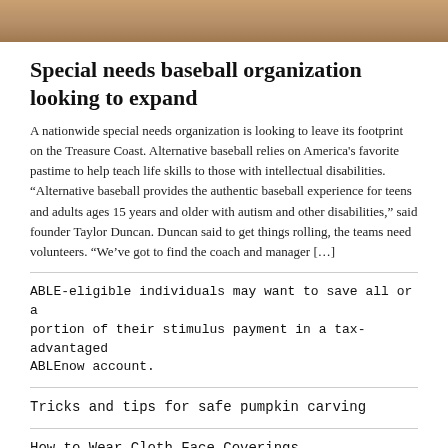[Figure (photo): Top portion of a baseball field image, cropped, showing brown dirt surface with diagonal lines]
Special needs baseball organization looking to expand
A nationwide special needs organization is looking to leave its footprint on the Treasure Coast. Alternative baseball relies on America's favorite pastime to help teach life skills to those with intellectual disabilities. “Alternative baseball provides the authentic baseball experience for teens and adults ages 15 years and older with autism and other disabilities,” said founder Taylor Duncan. Duncan said to get things rolling, the teams need volunteers. “We’ve got to find the coach and manager […]
ABLE-eligible individuals may want to save all or a portion of their stimulus payment in a tax-advantaged ABLEnow account.
Tricks and tips for safe pumpkin carving
How to Wear Cloth Face Coverings